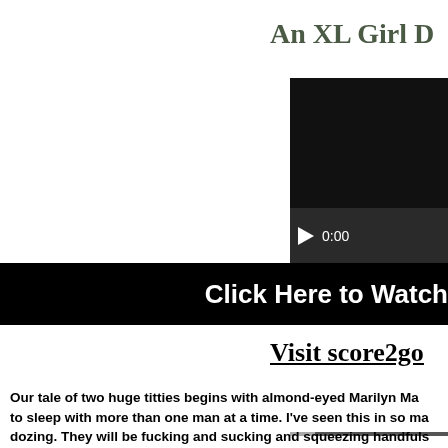An XL Girl D
[Figure (screenshot): Video player with dark background, play button and 0:00 timestamp, progress bar at bottom]
Click Here to Watch
Visit score2go
Our tale of two huge titties begins with almond-eyed Marilyn Ma to sleep with more than one man at a time. I've seen this in so ma dozing. They will be fucking and sucking and squeezing handfuls time in tag-teaming her. One man shoves his cock between her le plush hooters and fucking her sweet, hungry mouth. Sitting up, M her on her hands and knees so one can fuck her from behind in do Marilyn as her dream of two studs doing her comes true. Two big missed it. She talks about this threesome and other horny topics l